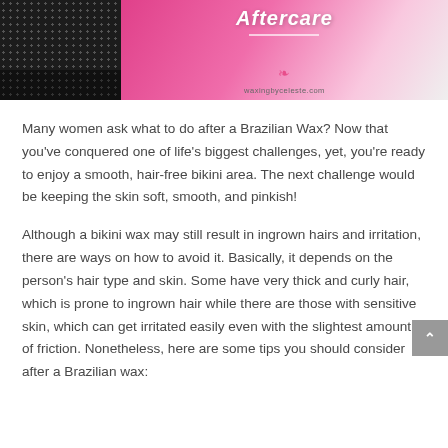[Figure (photo): Banner image for a waxing blog post showing a black mesh bikini bottom on the left against dark background, and on the right a pink gradient with cursive/italic title text partially visible at top, a logo icon, and waxingbyceleste.com URL at the bottom.]
Many women ask what to do after a Brazilian Wax? Now that you've conquered one of life's biggest challenges, yet, you're ready to enjoy a smooth, hair-free bikini area. The next challenge would be keeping the skin soft, smooth, and pinkish!
Although a bikini wax may still result in ingrown hairs and irritation, there are ways on how to avoid it. Basically, it depends on the person's hair type and skin. Some have very thick and curly hair, which is prone to ingrown hair while there are those with sensitive skin, which can get irritated easily even with the slightest amount of friction. Nonetheless, here are some tips you should consider after a Brazilian wax: